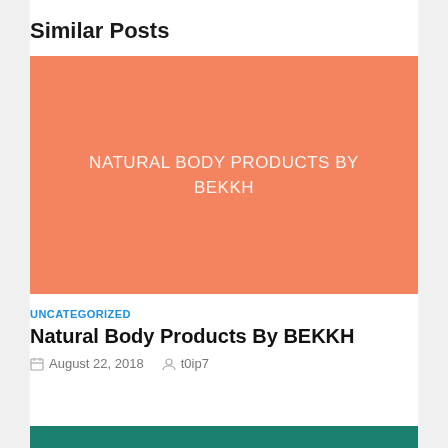Similar Posts
[Figure (illustration): Orange/salmon colored placeholder image with white text reading 'NATURAL BODY PRODUCTS BY BEKKH']
UNCATEGORIZED
Natural Body Products By BEKKH
August 22, 2018   t0ip7